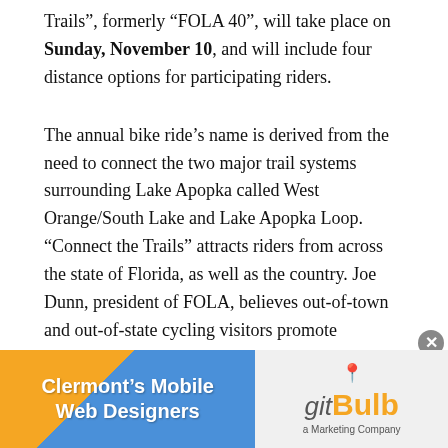Trails”, formerly “FOLA 40”, will take place on Sunday, November 10, and will include four distance options for participating riders.
The annual bike ride’s name is derived from the need to connect the two major trail systems surrounding Lake Apopka called West Orange/South Lake and Lake Apopka Loop. “Connect the Trails” attracts riders from across the state of Florida, as well as the country. Joe Dunn, president of FOLA, believes out-of-town and out-of-state cycling visitors promote ecotourism and bring revenue to local hotels, restaurants and shops.
Registered riders can choose from 8, 16, 36 and 40 mile
[Figure (infographic): Advertisement banner for gitBulb, a Marketing Company, describing themselves as Clermont's Mobile Web Designers. Left side has orange and blue diagonal background with white bold text. Right side shows the gitBulb logo with a location pin icon and tagline 'a Marketing Company'.]